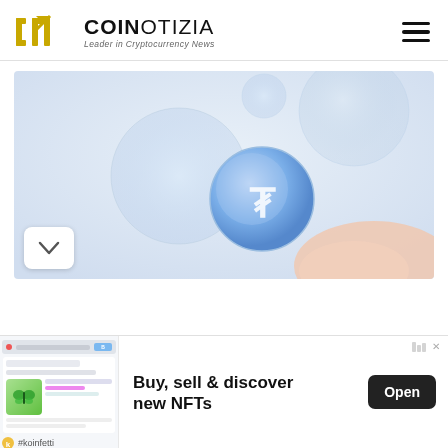COINOTIZIA - Leader in Cryptocurrency News
[Figure (photo): Blue glassy cryptocurrency coin with a symbol, floating among translucent bubbles on a light gradient background, with a hand partially visible.]
[Figure (screenshot): Advertisement banner: App screenshot showing NFT marketplace with green butterfly NFT and #koinfetti branding. Text: Buy, sell & discover new NFTs. Open button.]